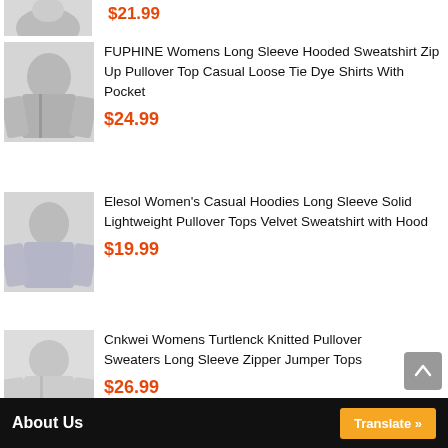[Figure (photo): Partial product image of a jacket/sweatshirt at the top of the page, cut off]
$21.99
[Figure (photo): Product image: FUPHINE hooded sweatshirt zip up pullover]
FUPHINE Womens Long Sleeve Hooded Sweatshirt Zip Up Pullover Top Casual Loose Tie Dye Shirts With Pocket
$24.99
[Figure (photo): Product image: Elesol women's casual hoodies sweatshirt]
Elesol Women's Casual Hoodies Long Sleeve Solid Lightweight Pullover Tops Velvet Sweatshirt with Hood
$19.99
[Figure (photo): Product image: Cnkwei womens turtleneck knitted pullover sweater]
Cnkwei Womens Turtlenck Knitted Pullover Sweaters Long Sleeve Zipper Jumper Tops
$26.99
About Us   Translate »